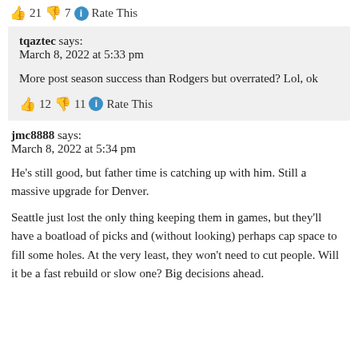👍 21 👎 7 🔵 Rate This
tqaztec says:
March 8, 2022 at 5:33 pm
More post season success than Rodgers but overrated? Lol, ok
👍 12 👎 11 🔵 Rate This
jmc8888 says:
March 8, 2022 at 5:34 pm
He's still good, but father time is catching up with him. Still a massive upgrade for Denver.
Seattle just lost the only thing keeping them in games, but they'll have a boatload of picks and (without looking) perhaps cap space to fill some holes. At the very least, they won't need to cut people. Will it be a fast rebuild or slow one? Big decisions ahead.